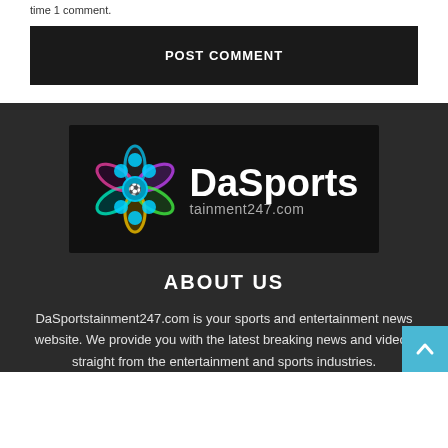time 1 comment.
POST COMMENT
[Figure (logo): DaSportstainment247.com logo with colorful flower/sports icon on dark background, text reads 'DaSports tainment247.com']
ABOUT US
DaSportstainment247.com is your sports and entertainment news website. We provide you with the latest breaking news and videos straight from the entertainment and sports industries.